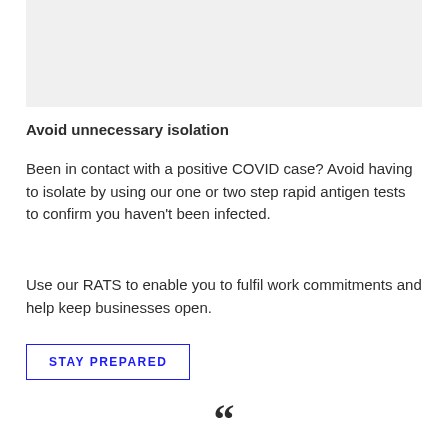[Figure (other): Gray rectangular box at the top of the page, likely a placeholder image area]
Avoid unnecessary isolation
Been in contact with a positive COVID case? Avoid having to isolate by using our one or two step rapid antigen tests to confirm you haven't been infected.
Use our RATS to enable you to fulfil work commitments and help keep businesses open.
STAY PREPARED
[Figure (other): Large opening quotation mark at the bottom center of the page]